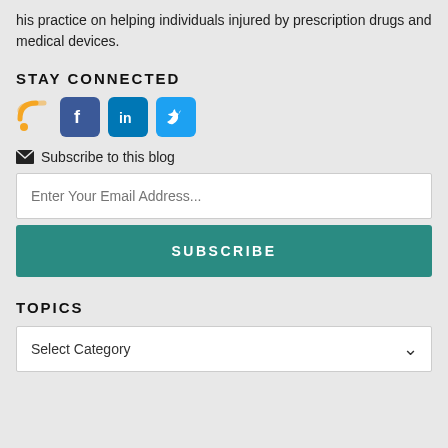his practice on helping individuals injured by prescription drugs and medical devices.
STAY CONNECTED
[Figure (infographic): Social media icons: RSS feed (orange), Facebook (blue), LinkedIn (blue), Twitter (light blue)]
Subscribe to this blog
Enter Your Email Address...
SUBSCRIBE
TOPICS
Select Category